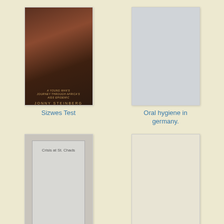[Figure (photo): Book cover of Sizwe's Test by Jonny Steinberg, dark brown photographic cover with subtitle about a young man's journey through Africa's AIDS epidemic]
Sizwes Test
[Figure (illustration): Placeholder gray book cover for Oral hygiene in germany]
Oral hygiene in germany.
[Figure (illustration): Book cover placeholder for Crisis at St. Chads, cream colored outer with inner gray rectangle containing the title text]
Crisis at St. Chads
[Figure (illustration): Blank cream/light colored book cover placeholder for Some points connected with periodic breathing]
Some points connected with periodic breathing
[Figure (photo): Book cover showing handwritten musical notes or manuscript with a scroll/quill]
[Figure (illustration): Book cover for Electrolytic Manganese in Acid and Basic Electric Steel Furnace]
Electrolytic Manganese in Acid and Basic Electric Steel Furnace